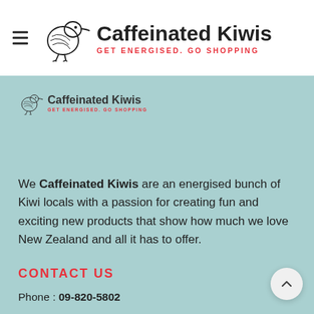Caffeinated Kiwis — GET ENERGISED. GO SHOPPING
[Figure (logo): Caffeinated Kiwis logo with kiwi bird illustration, text 'Caffeinated Kiwis' and tagline 'GET ENERGISED. GO SHOPPING' in red]
We Caffeinated Kiwis are an energised bunch of Kiwi locals with a passion for creating fun and exciting new products that show how much we love New Zealand and all it has to offer.
CONTACT US
Phone : 09-820-5802